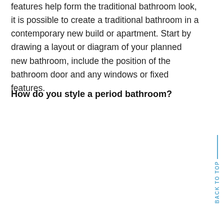features help form the traditional bathroom look, it is possible to create a traditional bathroom in a contemporary new build or apartment. Start by drawing a layout or diagram of your planned new bathroom, include the position of the bathroom door and any windows or fixed features.
How do you style a period bathroom?